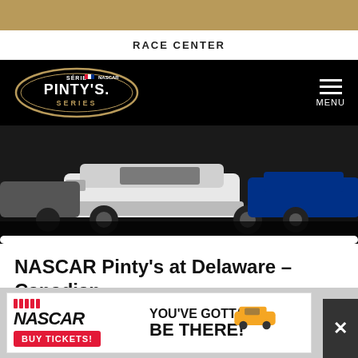RACE CENTER
[Figure (screenshot): NASCAR Pinty's Series logo on black navigation bar with hamburger menu icon and MENU text on the right]
[Figure (photo): NASCAR race cars on a track, close-up of front bumpers, dark/nighttime lighting]
NASCAR Pinty's at Delaware – Canadian ...
[Figure (infographic): NASCAR advertisement banner: NASCAR logo with red BUY TICKETS button on left, race car image in middle, YOU'VE GOTTA BE THERE! text on right]